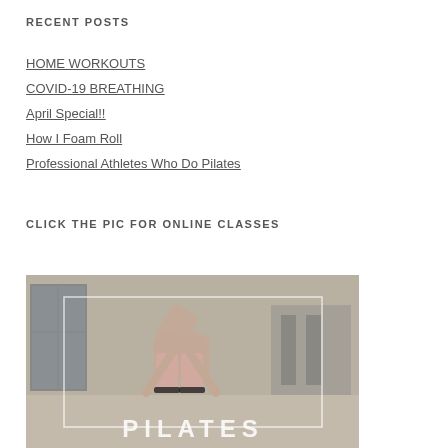RECENT POSTS
HOME WORKOUTS
COVID-19 BREATHING
April Special!!
How I Foam Roll
Professional Athletes Who Do Pilates
CLICK THE PIC FOR ONLINE CLASSES
[Figure (photo): A person doing a Pilates exercise in a studio, bending forward with straps around their ankles. Text 'PILATES' overlaid at the bottom.]